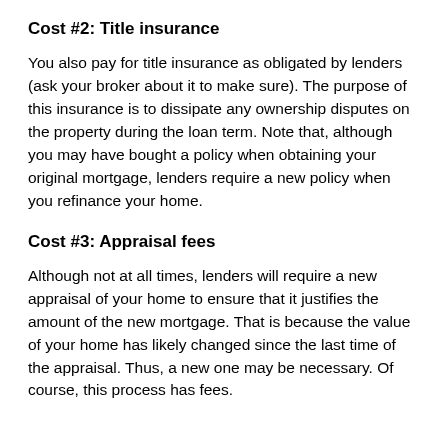Cost #2: Title insurance
You also pay for title insurance as obligated by lenders (ask your broker about it to make sure). The purpose of this insurance is to dissipate any ownership disputes on the property during the loan term. Note that, although you may have bought a policy when obtaining your original mortgage, lenders require a new policy when you refinance your home.
Cost #3: Appraisal fees
Although not at all times, lenders will require a new appraisal of your home to ensure that it justifies the amount of the new mortgage. That is because the value of your home has likely changed since the last time of the appraisal. Thus, a new one may be necessary. Of course, this process has fees.